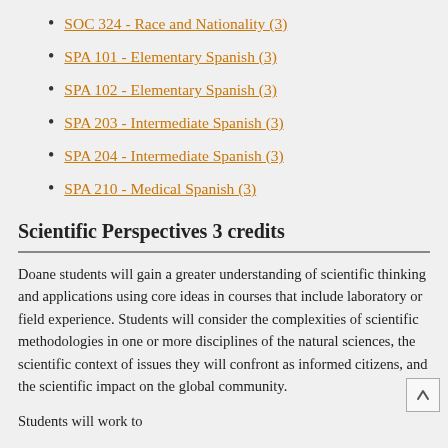SOC 324 - Race and Nationality (3)
SPA 101 - Elementary Spanish (3)
SPA 102 - Elementary Spanish (3)
SPA 203 - Intermediate Spanish (3)
SPA 204 - Intermediate Spanish (3)
SPA 210 - Medical Spanish (3)
Scientific Perspectives 3 credits
Doane students will gain a greater understanding of scientific thinking and applications using core ideas in courses that include laboratory or field experience. Students will consider the complexities of scientific methodologies in one or more disciplines of the natural sciences, the scientific context of issues they will confront as informed citizens, and the scientific impact on the global community.
Students will work to